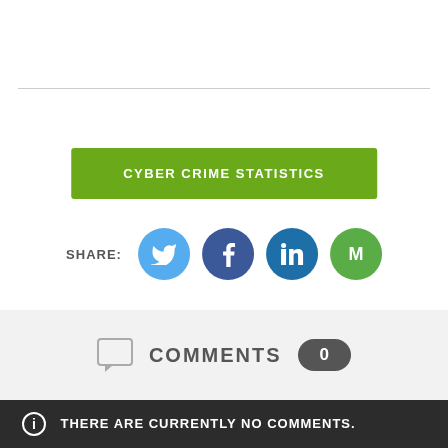[Figure (other): Green button labeled CYBER CRIME STATISTICS]
SHARE:
[Figure (other): Social share icons: Twitter, Facebook, LinkedIn, Mail]
COMMENTS 0
THERE ARE CURRENTLY NO COMMENTS.